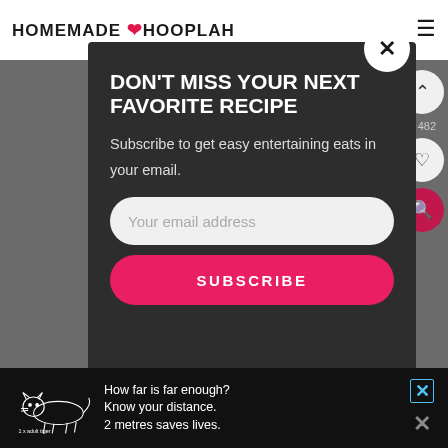HOMEMADE HOOPLAH
[Figure (screenshot): Website header with logo 'HOMEMADE HOOPLAH' with heart icon, and hamburger menu icon on right]
DON'T MISS YOUR NEXT FAVORITE RECIPE
Subscribe to get easy entertaining eats in your email.
Your email address
SUBSCRIBE
[Figure (infographic): Tiger advertisement banner: '1 x adult tiger - How far is far enough? Know your distance. 2 metres saves lives.' with close buttons]